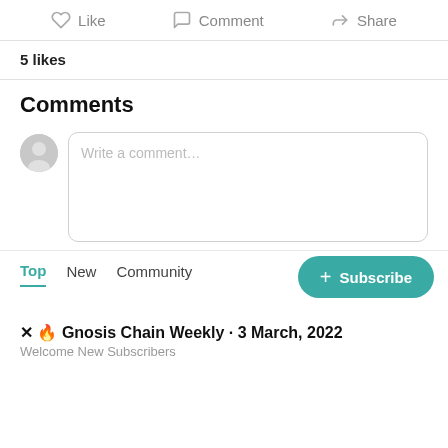[Figure (screenshot): Action bar with Like, Comment, Share buttons using icons]
5 likes
Comments
[Figure (screenshot): Comment input box with avatar and placeholder text 'Write a comment...']
Top  New  Community
+ Subscribe
✕ 🔥 Gnosis Chain Weekly · 3 March, 2022
Welcome New Subscribers